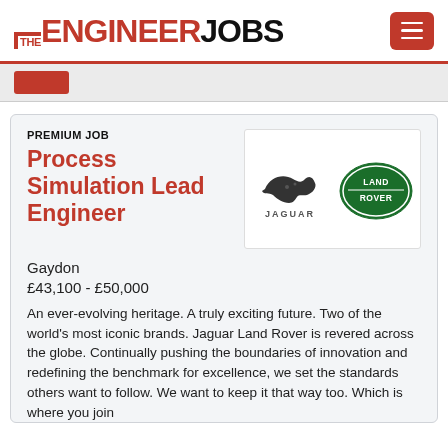THE ENGINEER JOBS
PREMIUM JOB
Process Simulation Lead Engineer
Gaydon
£43,100 - £50,000
[Figure (logo): Jaguar and Land Rover logos side by side on white background]
An ever-evolving heritage. A truly exciting future. Two of the world's most iconic brands. Jaguar Land Rover is revered across the globe. Continually pushing the boundaries of innovation and redefining the benchmark for excellence, we set the standards others want to follow. We want to keep it that way too. Which is where you join